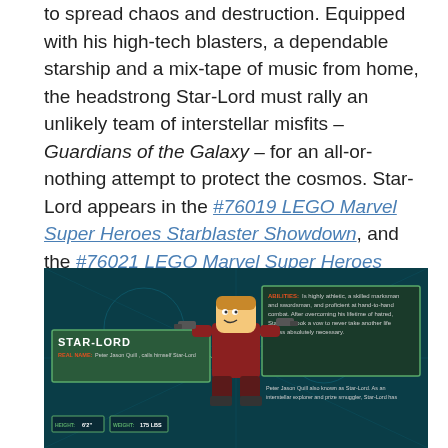to spread chaos and destruction. Equipped with his high-tech blasters, a dependable starship and a mix-tape of music from home, the headstrong Star-Lord must rally an unlikely team of interstellar misfits – Guardians of the Galaxy – for an all-or-nothing attempt to protect the cosmos. Star-Lord appears in the #76019 LEGO Marvel Super Heroes Starblaster Showdown, and the #76021 LEGO Marvel Super Heroes Milano Spaceship Rescue sets.
[Figure (infographic): LEGO Star-Lord character infographic on dark teal background. Shows a LEGO Star-Lord minifigure in the center holding blasters. Left panel: STAR-LORD label with REAL NAME: Peter Jason Quill, calls himself Star-Lord. Right panel: ABILITIES: Is highly athletic, a skilled marksman and swordsman, and proficient at hand-to-hand combat. After overcoming his lifetime of hatred, Star-Lord took a vow to never take another life unless absolutely necessary. Bottom left: HEIGHT: 6'2" WEIGHT: 175 LBS. Bottom right: Peter Jason Quill also known as Star-Lord. As an interstellar explorer and prize smuggler, Star-Lord has...]